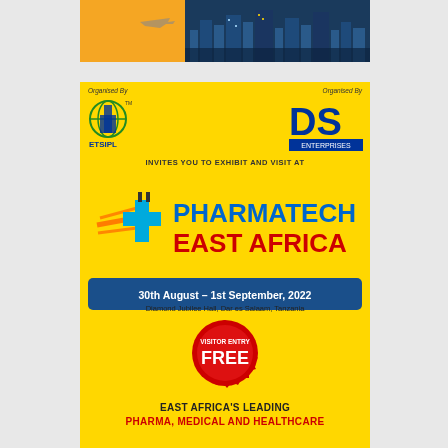[Figure (photo): Top banner showing a city skyline at night with warm orange left side and dark blue right side with building lights]
[Figure (infographic): Yellow advertisement card for Pharmatech East Africa event. Shows two organizer logos (ETSIPL and DS Enterprises), event name PHARMATECH EAST AFRICA, dates 30th August - 1st September 2022, venue Diamond Jubilee Hall Dar es Salaam Tanzania, VISITOR ENTRY FREE badge, and text EAST AFRICA'S LEADING PHARMA, MEDICAL AND HEALTHCARE]
Organised By
Organised By
INVITES YOU TO EXHIBIT AND VISIT AT
PHARMATECH EAST AFRICA
30th August – 1st September, 2022
Diamond Jubilee Hall, Dar es Salaam, Tanzania
VISITOR ENTRY FREE
EAST AFRICA'S LEADING
PHARMA, MEDICAL AND HEALTHCARE